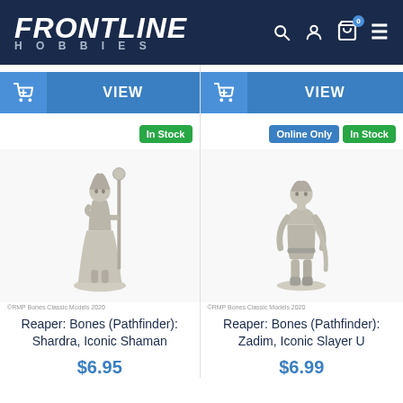Frontline Hobbies
[Figure (screenshot): Two product cards from Frontline Hobbies website showing Reaper Bones miniatures with VIEW and add-to-cart buttons, stock badges, product images, names, and prices.]
Reaper: Bones (Pathfinder): Shardra, Iconic Shaman
$6.95
Reaper: Bones (Pathfinder): Zadim, Iconic Slayer U
$6.99